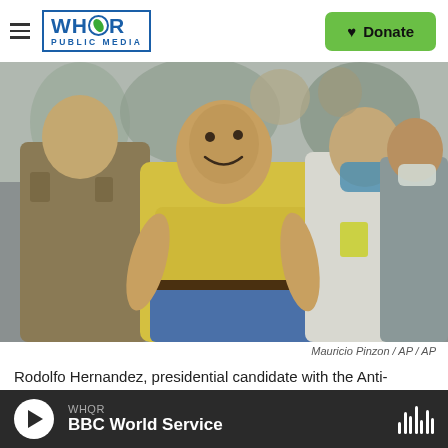WHQR PUBLIC MEDIA | Donate
[Figure (photo): Rodolfo Hernandez, presidential candidate with the Anti-corruption Governors League, surrounded by security personnel while leaving a polling station after voting in presidential election. He is wearing a yellow polo shirt and blue jeans.]
Mauricio Pinzon / AP / AP
Rodolfo Hernandez, presidential candidate with the Anti-corruption Governors League, leaves a polling station after voting in presidential
WHQR BBC World Service